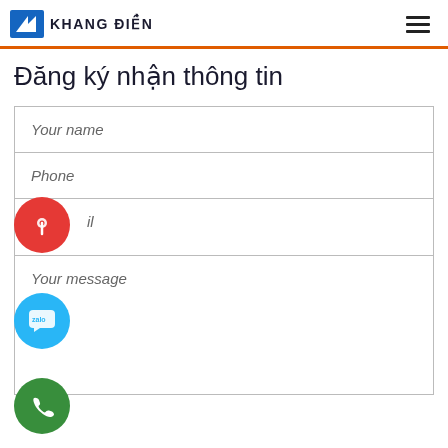KHANG ĐIỀN
Đăng ký nhận thông tin
Your name
Phone
Email
Your message
[Figure (infographic): Red circular floating action button with location/camera pin icon]
[Figure (infographic): Blue circular floating action button with Zalo chat icon]
[Figure (infographic): Green circular floating action button with phone/call icon]